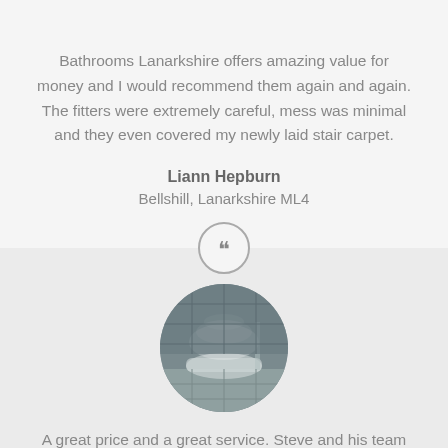Bathrooms Lanarkshire offers amazing value for money and I would recommend them again and again. The fitters were extremely careful, mess was minimal and they even covered my newly laid stair carpet.
Liann Hepburn
Bellshill, Lanarkshire ML4
[Figure (photo): Circular photo of a bathroom with steam over a bathtub, dark stone tiles]
A great price and a great service. Steve and his team provided me with a super service and on time like they said. They even took all